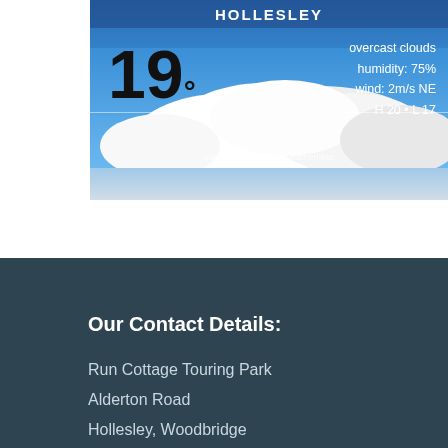[Figure (screenshot): Weather widget for Hollesley showing 19 degrees, overcast clouds, humidity 75%, wind 2m/s NE, H20 L17, with cloud imagery background. Attribution: Weather from OpenWeatherMap.]
Our Contact Details:
Run Cottage Touring Park
Alderton Road
Hollesley, Woodbridge
Suffolk